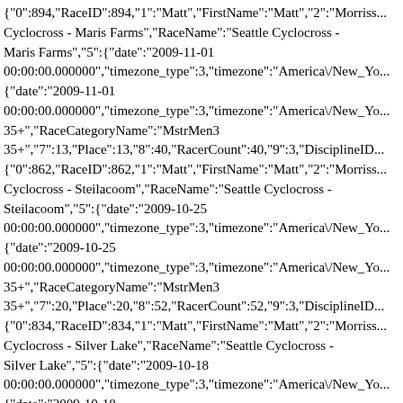{"0":894,"RaceID":894,"1":"Matt","FirstName":"Matt","2":"Morris... Cyclocross - Maris Farms","RaceName":"Seattle Cyclocross - Maris Farms","5":{"date":"2009-11-01 00:00:00.000000","timezone_type":3,"timezone":"America\/New_Yo... {"date":"2009-11-01 00:00:00.000000","timezone_type":3,"timezone":"America\/New_Yo... 35+","RaceCategoryName":"MstrMen3 35+","7":13,"Place":13,"8":40,"RacerCount":40,"9":3,"DisciplineID... {"0":862,"RaceID":862,"1":"Matt","FirstName":"Matt","2":"Morris... Cyclocross - Steilacoom","RaceName":"Seattle Cyclocross - Steilacoom","5":{"date":"2009-10-25 00:00:00.000000","timezone_type":3,"timezone":"America\/New_Yo... {"date":"2009-10-25 00:00:00.000000","timezone_type":3,"timezone":"America\/New_Yo... 35+","RaceCategoryName":"MstrMen3 35+","7":20,"Place":20,"8":52,"RacerCount":52,"9":3,"DisciplineID... {"0":834,"RaceID":834,"1":"Matt","FirstName":"Matt","2":"Morris... Cyclocross - Silver Lake","RaceName":"Seattle Cyclocross - Silver Lake","5":{"date":"2009-10-18 00:00:00.000000","timezone_type":3,"timezone":"America\/New_Yo... {"date":"2009-10-18 00:00:00.000000","timezone_type":3,"timezone":"America\/New_Yo... 35+","RaceCategoryName":"MstrMen3 35+","7":8,"Place":8,"8":52,"RacerCount":52,"9":3,"DisciplineID":3... {"0":786,"RaceID":786,"1":"Matt","FirstName":"Matt","2":"Morris...